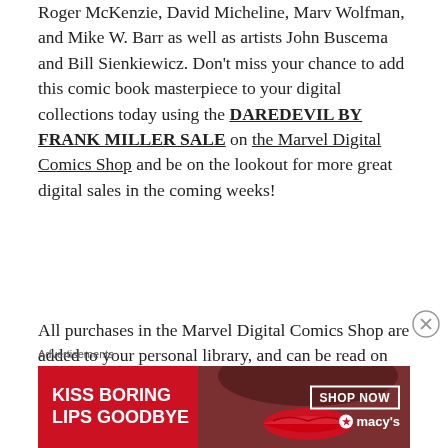Roger McKenzie, David Micheline, Marv Wolfman, and Mike W. Barr as well as artists John Buscema and Bill Sienkiewicz. Don't miss your chance to add this comic book masterpiece to your digital collections today using the DAREDEVIL BY FRANK MILLER SALE on the Marvel Digital Comics Shop and be on the lookout for more great digital sales in the coming weeks!
All purchases in the Marvel Digital Comics Shop are added to your personal library, and can be read on any web browser, or in the Marvel Comics app on iPhone®, iPad® and select
Advertisements
[Figure (illustration): Macy's advertisement banner with red background, text 'KISS BORING LIPS GOODBYE', a woman's face with red lips in center, 'SHOP NOW' button and Macy's logo on the right]